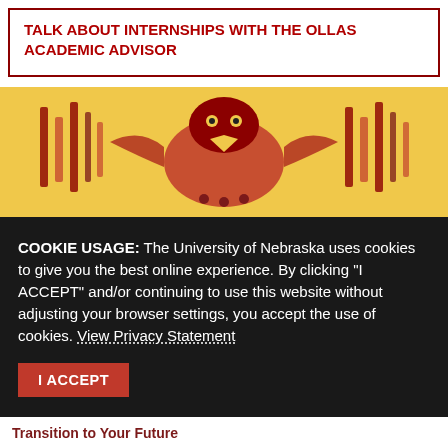TALK ABOUT INTERNSHIPS WITH THE OLLAS ACADEMIC ADVISOR
[Figure (illustration): Decorative Native American / indigenous art motif on a golden yellow background banner]
COOKIE USAGE: The University of Nebraska uses cookies to give you the best online experience. By clicking “I ACCEPT” and/or continuing to use this website without adjusting your browser settings, you accept the use of cookies. View Privacy Statement
I ACCEPT
Transition to Your Future
A staggering 95% of employers said candidate experience is a factor in hiring decisions, according to an annual survey by the National Association of Colleges and Employers (NACE). Nearly half of